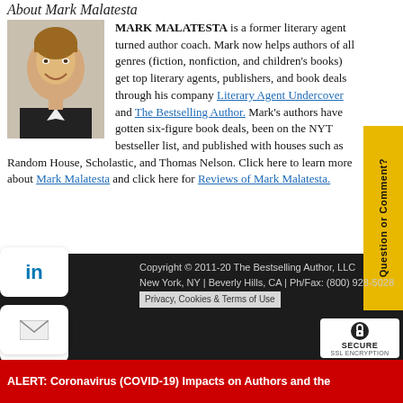About Mark Malatesta
[Figure (photo): Headshot photo of Mark Malatesta, a man in a dark jacket smiling, against a light background]
MARK MALATESTA is a former literary agent turned author coach. Mark now helps authors of all genres (fiction, nonfiction, and children's books) get top literary agents, publishers, and book deals through his company Literary Agent Undercover and The Bestselling Author. Mark's authors have gotten six-figure book deals, been on the NYT bestseller list, and published with houses such as Random House, Scholastic, and Thomas Nelson. Click here to learn more about Mark Malatesta and click here for Reviews of Mark Malatesta.
Copyright © 2011-20 The Bestselling Author, LLC
New York, NY | Beverly Hills, CA | Ph/Fax: (800) 928-5028
Privacy, Cookies & Terms of Use
ALERT: Coronavirus (COVID-19) Impacts on Authors and the